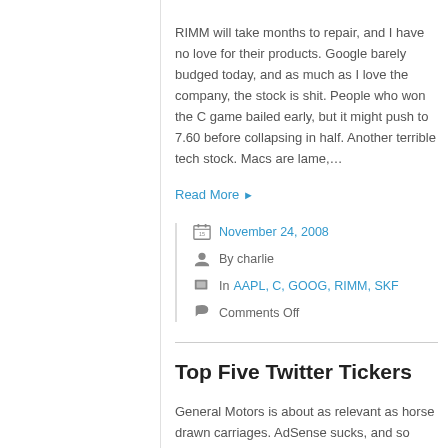RIMM will take months to repair, and I have no love for their products. Google barely budged today, and as much as I love the company, the stock is shit. People who won the C game bailed early, but it might push to 7.60 before collapsing in half. Another terrible tech stock. Macs are lame,…
Read More ▶
November 24, 2008
By charlie
In AAPL, C, GOOG, RIMM, SKF
Comments Off
Top Five Twitter Tickers
General Motors is about as relevant as horse drawn carriages. AdSense sucks, and so does Google's future revenue. I'll keep the Gold, you take the Man Sachs. Citi is not only asleep, it is comatose, and